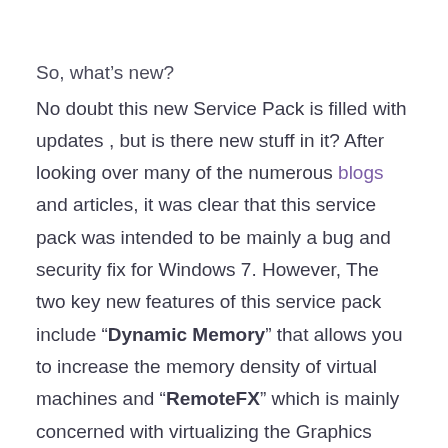So, what's new?
No doubt this new Service Pack is filled with updates , but is there new stuff in it? After looking over many of the numerous blogs and articles, it was clear that this service pack was intended to be mainly a bug and security fix for Windows 7. However, The two key new features of this service pack include “Dynamic Memory” that allows you to increase the memory density of virtual machines and “RemoteFX” which is mainly concerned with virtualizing the Graphics Processing on servers to do